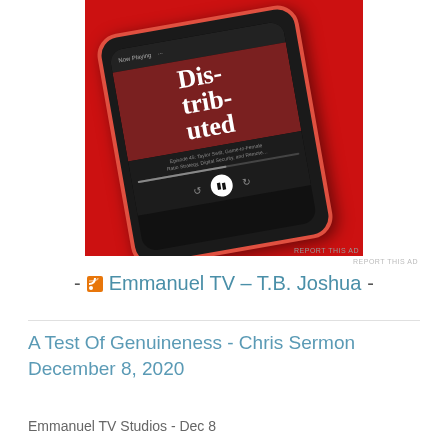[Figure (photo): A smartphone with a red case displaying a podcast app showing 'Distributed' podcast, set against a red background]
REPORT THIS AD
- Emmanuel TV – T.B. Joshua -
A Test Of Genuineness - Chris Sermon December 8, 2020
Emmanuel TV Studios - Dec 8...